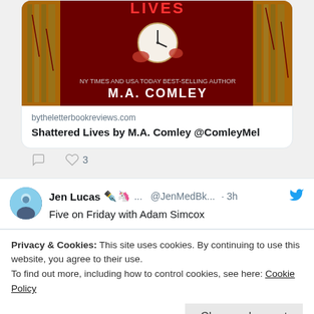[Figure (photo): Book cover image for Shattered Lives by M.A. Comley, showing a dark red background with a clock and roses]
bytheletterbookreviews.com
Shattered Lives by M.A. Comley @ComleyMel
♡ 3
Jen Lucas 🖊️🦄... @JenMedBk... · 3h
Five on Friday with Adam Simcox
Privacy & Cookies: This site uses cookies. By continuing to use this website, you agree to their use.
To find out more, including how to control cookies, see here: Cookie Policy
Close and accept
[Figure (photo): Partial bottom image strip showing colorful content]